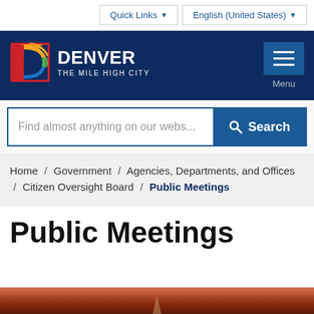Quick Links  |  English (United States)
[Figure (logo): Denver The Mile High City logo with colorful D emblem]
DENVER THE MILE HIGH CITY
Find almost anything on our webs...  Search
Home / Government / Agencies, Departments, and Offices / Citizen Oversight Board / Public Meetings
Public Meetings